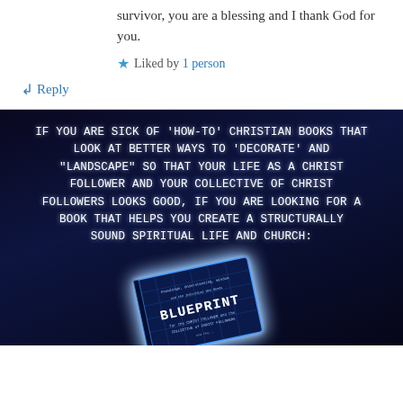survivor, you are a blessing and I thank God for you.
★ Liked by 1 person
↳ Reply
[Figure (illustration): Dark blue/black background advertisement image for a book called BLUEPRINT. Text reads: IF YOU ARE SICK OF 'HOW-TO' CHRISTIAN BOOKS THAT LOOK AT BETTER WAYS TO 'DECORATE' AND 'LANDSCAPE' SO THAT YOUR LIFE AS A CHRIST FOLLOWER AND YOUR COLLECTIVE OF CHRIST FOLLOWERS LOOKS GOOD, IF YOU ARE LOOKING FOR A BOOK THAT HELPS YOU CREATE A STRUCTURALLY SOUND SPIRITUAL LIFE AND CHURCH: Below the text is a photo of a book with a glowing blue blueprint-style cover titled BLUEPRINT for the Christ Follower and the Collective of Christ Followers.]